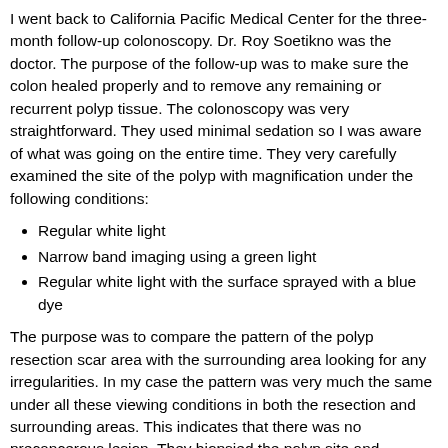I went back to California Pacific Medical Center for the three-month follow-up colonoscopy. Dr. Roy Soetikno was the doctor. The purpose of the follow-up was to make sure the colon healed properly and to remove any remaining or recurrent polyp tissue. The colonoscopy was very straightforward. They used minimal sedation so I was aware of what was going on the entire time. They very carefully examined the site of the polyp with magnification under the following conditions:
Regular white light
Narrow band imaging using a green light
Regular white light with the surface sprayed with a blue dye
The purpose was to compare the pattern of the polyp resection scar area with the surrounding area looking for any irregularities. In my case the pattern was very much the same under all these viewing conditions in both the resection and surrounding areas. This indicates that there was no precancerous lesion. They biopsied the polyp site and confirmed that there was no residual adenoma tissue. The polyp healing process is complete except for more follow-up colonoscopies to check for any new problems.